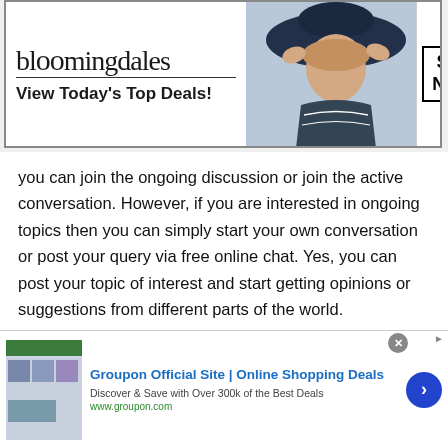[Figure (screenshot): Bloomingdale's advertisement banner with logo, woman in hat, and 'SHOP NOW >' call to action button]
you can join the ongoing discussion or join the active conversation. However, if you are interested in ongoing topics then you can simply start your own conversation or post your query via free online chat. Yes, you can post your topic of interest and start getting opinions or suggestions from different parts of the world.

Well, this can be much easier and convenient to get a lot of responses with the comfort of your home.
[Figure (screenshot): Groupon Official Site advertisement banner with thumbnail images, title 'Groupon Official Site | Online Shopping Deals', description 'Discover & Save with Over 300k of the Best Deals', URL www.groupon.com, and blue circular arrow button]